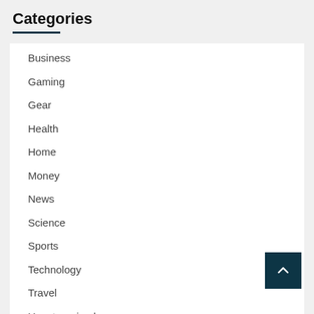Categories
Business
Gaming
Gear
Health
Home
Money
News
Science
Sports
Technology
Travel
Uncategorized